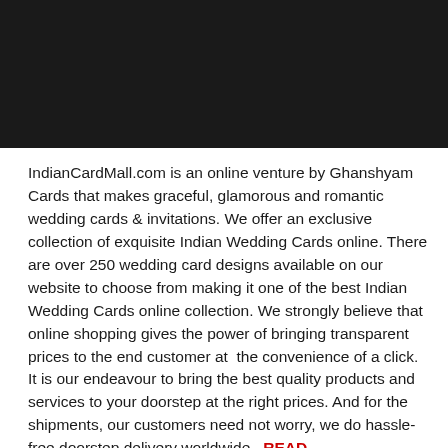[Figure (photo): Black rectangular image placeholder at the top of the page]
IndianCardMall.com is an online venture by Ghanshyam Cards that makes graceful, glamorous and romantic wedding cards & invitations. We offer an exclusive collection of exquisite Indian Wedding Cards online. There are over 250 wedding card designs available on our website to choose from making it one of the best Indian Wedding Cards online collection. We strongly believe that online shopping gives the power of bringing transparent prices to the end customer at the convenience of a click. It is our endeavour to bring the best quality products and services to your doorstep at the right prices. And for the shipments, our customers need not worry, we do hassle-free doorstep delivery worldwide.  READ